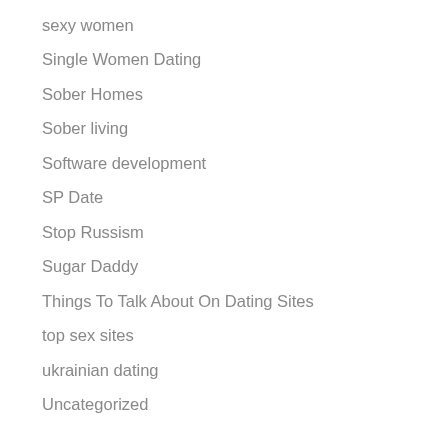sexy brides
sexy women
Single Women Dating
Sober Homes
Sober living
Software development
SP Date
Stop Russism
Sugar Daddy
Things To Talk About On Dating Sites
top sex sites
ukrainian dating
Uncategorized